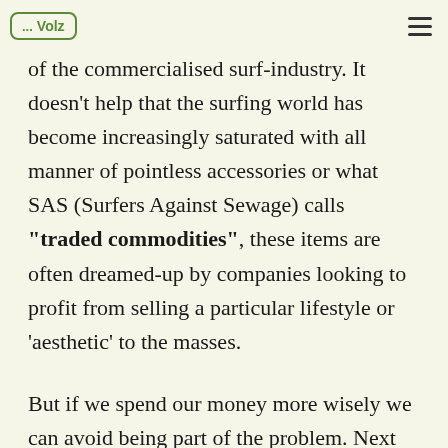Volz
of the commercialised surf-industry. It doesn't help that the surfing world has become increasingly saturated with all manner of pointless accessories or what SAS (Surfers Against Sewage) calls "traded commodities", these items are often dreamed-up by companies looking to profit from selling a particular lifestyle or 'aesthetic' to the masses.
But if we spend our money more wisely we can avoid being part of the problem. Next time you need some surf-related sportswear look for a retailer that belongs